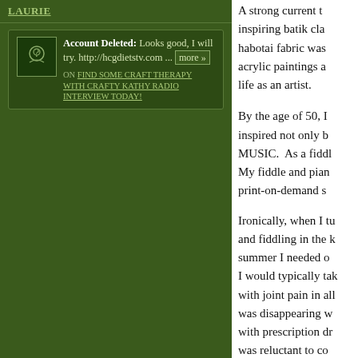LAURIE
Account Deleted: Looks good, I will try. http://hcgdietstv.com ... more »
ON FIND SOME CRAFT THERAPY WITH CRAFTY KATHY RADIO INTERVIEW TODAY!
A strong current to inspiring batik cla habotai fabric was acrylic paintings a life as an artist.
By the age of 50, I inspired not only by MUSIC. As a fiddle My fiddle and pian print-on-demand st
Ironically, when I tu and fiddling in the k summer I needed o I would typically tak with joint pain in all was disappearing w with prescription dr was reluctant to co get my life back in by my side all thes